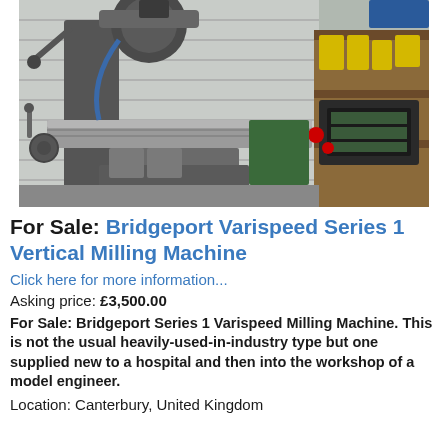[Figure (photo): Photograph of a Bridgeport Varispeed Series 1 Vertical Milling Machine in a workshop setting, showing the milling table, spindle head, and workshop equipment in background]
For Sale: Bridgeport Varispeed Series 1 Vertical Milling Machine
Click here for more information...
Asking price: £3,500.00
For Sale: Bridgeport Series 1 Varispeed Milling Machine. This is not the usual heavily-used-in-industry type but one supplied new to a hospital and then into the workshop of a model engineer.
Location: Canterbury, United Kingdom